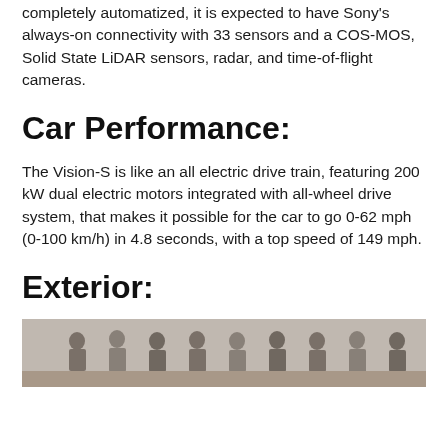completely automatized, it is expected to have Sony's always-on connectivity with 33 sensors and a COS-MOS, Solid State LiDAR sensors, radar, and time-of-flight cameras.
Car Performance:
The Vision-S is like an all electric drive train, featuring 200 kW dual electric motors integrated with all-wheel drive system, that makes it possible for the car to go 0-62 mph (0-100 km/h) in 4.8 seconds, with a top speed of 149 mph.
Exterior:
[Figure (photo): Black and white photo showing a group of people, appears to be a presentation or press event scene.]